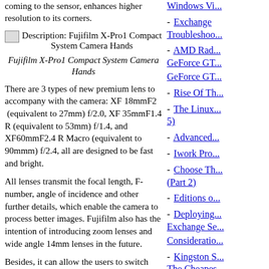coming to the sensor, enhances higher resolution to its corners.
Description: Fujifilm X-Pro1 Compact System Camera Hands
Fujifilm X-Pro1 Compact System Camera Hands
There are 3 types of new premium lens to accompany with the camera: XF 18mmF2 (equivalent to 27mm) f/2.0, XF 35mmF1.4 R (equivalent to 53mm) f/1.4, and XF60mmF2.4 R Macro (equivalent to 90mmm) f/2.4, all are designed to be fast and bright.
All lenses transmit the focal length, F-number, angle of incidence and other further details, which enable the camera to process better images. Fujifilm also has the intention of introducing zoom lenses and wide angle 14mm lenses in the future.
Besides, it can allow the users to switch between the optical and digital modes. The former is brighter and has lowest shutter lag while the latter displays more information, such as exposure and depth of indicators.
The switching into the automatically optical modes adjusts the magnification of the viewfinder in order to go well with the lenses' focal length because it isn't a through-the-lens system, but definitely a separate set of optics.
Windows Vi...
Exchange Troubleshoo...
AMD Rad... GeForce GT... GeForce GT...
Rise Of Th...
The Linux... 5)
Advanced...
Iwork Pro...
Choose Th... (Part 2)
Editions o...
Deploying... Exchange Se... Consideratio...
Kingston S... The Cheapes...
Linking Po... to and Shar...